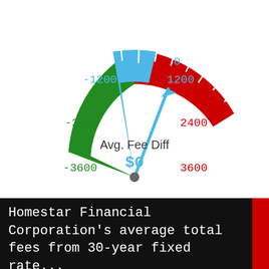[Figure (other): Speedometer/gauge chart showing Avg. Fee Diff of $0. The gauge arc spans from -6000 (left) to 6000 (right), with 0 at the top. The left half of the arc is green (negative values: -6000 to 0) and the right half is red (positive values: 0 to 6000). A narrow blue band straddles the top center (around -1200 to 1200). A blue needle points toward roughly 0 (straight up slightly tilted). Center label reads 'Avg. Fee Diff' and '$0' in blue.]
Homestar Financial Corporation's average total fees from 30-year fixed rate...